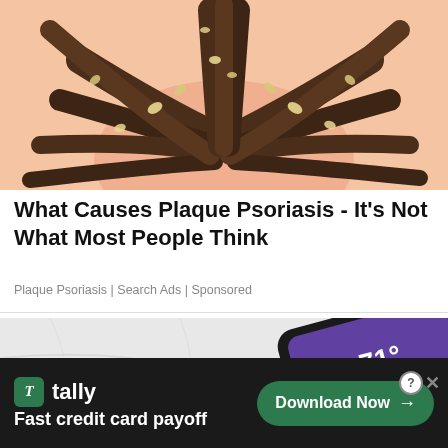[Figure (illustration): Medical illustration of scalp with dark braided hair strands showing white/yellow plaques and flakes at the scalp line, depicted in a cartoon/diagram style against a peach skin-tone background.]
What Causes Plaque Psoriasis - It's Not What Most People Think
Plaque Psoriasis | Search Ads | Sponsored
[Figure (photo): Photo of a smartphone lying on a white marble surface, screen displaying a weather app showing 71 degrees with a partly cloudy icon, along with various app icons on a purple gradient background.]
Tally Fast credit card payoff Download Now →